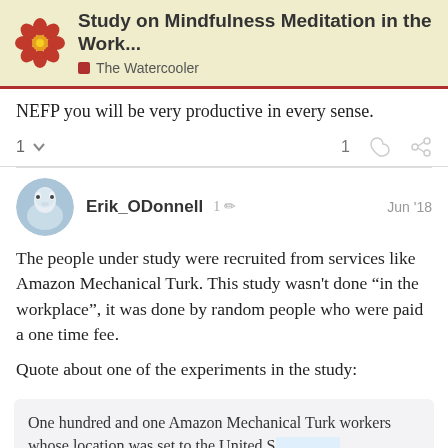Study on Mindfulness Meditation in the Work... — The Watercooler
NEFP you will be very productive in every sense.
Erik_ODonnell  1  Jun '18
The people under study were recruited from services like Amazon Mechanical Turk. This study wasn't done "in the workplace", it was done by random people who were paid a one time fee.
Quote about one of the experiments in the study:
One hundred and one Amazon Mechanical Turk workers whose location was set to the United S exchange for $1.35 each.
8 / 13